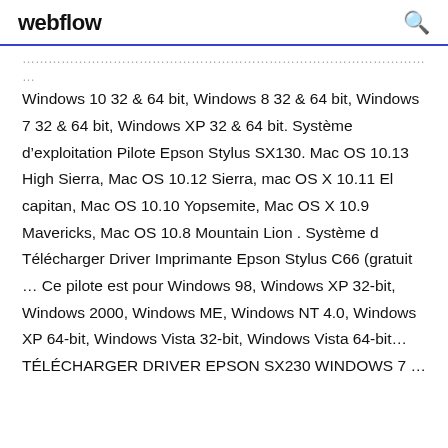webflow
Windows 10 32 & 64 bit, Windows 8 32 & 64 bit, Windows 7 32 & 64 bit, Windows XP 32 & 64 bit. Système d'exploitation Pilote Epson Stylus SX130. Mac OS 10.13 High Sierra, Mac OS 10.12 Sierra, mac OS X 10.11 El capitan, Mac OS 10.10 Yopsemite, Mac OS X 10.9 Mavericks, Mac OS 10.8 Mountain Lion . Système d Télécharger Driver Imprimante Epson Stylus C66 (gratuit ... Ce pilote est pour Windows 98, Windows XP 32-bit, Windows 2000, Windows ME, Windows NT 4.0, Windows XP 64-bit, Windows Vista 32-bit, Windows Vista 64-bit… TÉLÉCHARGER DRIVER EPSON SX230 WINDOWS 7 ...